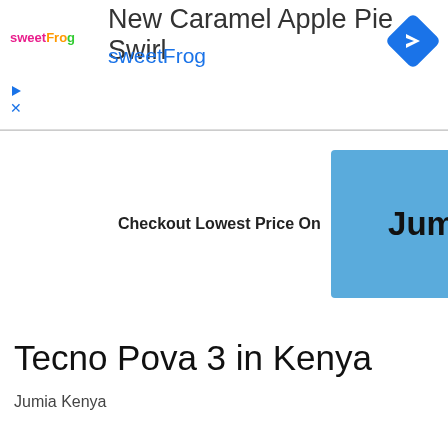[Figure (screenshot): Ad banner for sweetFrog featuring 'New Caramel Apple Pie Swirl' promotion with sweetFrog logo, blue navigation arrow icon, and a play/close link]
[Figure (screenshot): Collapse/chevron up button]
[Figure (screenshot): Checkout Lowest Price On Jumia button (blue square with Jumia text)]
Tecno Pova 3 in Kenya
Jumia Kenya
[Figure (screenshot): Checkout Lowest Price On Jumia button (blue square with Jumia text) - second instance]
Tecno Pova 3 in Ghana
Jumia Ghana